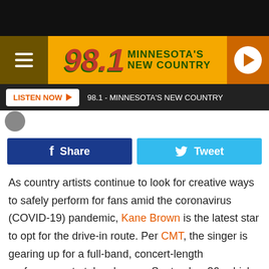[Figure (screenshot): Black top bar]
98.1 MINNESOTA'S NEW COUNTRY - radio station website header banner with hamburger menu, logo, and play button
LISTEN NOW ▶  98.1 - MINNESOTA'S NEW COUNTRY
[Figure (screenshot): Avatar/profile image circle thumbnail]
f Share   Tweet
As country artists continue to look for creative ways to safely perform for fans amid the coronavirus (COVID-19) pandemic, Kane Brown is the latest star to opt for the drive-in route. Per CMT, the singer is gearing up for a full-band, concert-length performance to take place on September 26, which will air in nearly 300 drive-in theaters in the United States and Canada.
In Minnesota you'll be able to see Kane's show at the Long...